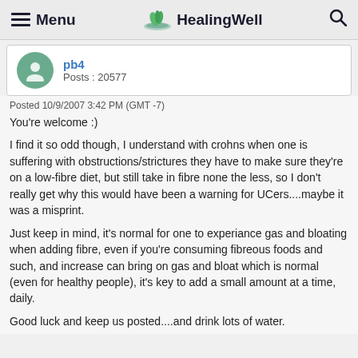≡ Menu   HealingWell   🔍
pb4
Posts : 20577
Posted 10/9/2007 3:42 PM (GMT -7)
You're welcome :)

I find it so odd though, I understand with crohns when one is suffering with obstructions/strictures they have to make sure they're on a low-fibre diet, but still take in fibre none the less, so I don't really get why this would have been a warning for UCers....maybe it was a misprint.

Just keep in mind, it's normal for one to experiance gas and bloating when adding fibre, even if you're consuming fibreous foods and such, and increase can bring on gas and bloat which is normal (even for healthy people), it's key to add a small amount at a time, daily.

Good luck and keep us posted....and drink lots of water.